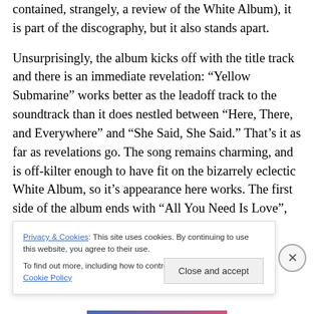contained, strangely, a review of the White Album), it is part of the discography, but it also stands apart.

Unsurprisingly, the album kicks off with the title track and there is an immediate revelation: “Yellow Submarine” works better as the leadoff track to the soundtrack than it does nestled between “Here, There, and Everywhere” and “She Said, She Said.” That’s it as far as revelations go. The song remains charming, and is off-kilter enough to have fit on the bizarrely eclectic White Album, so it’s appearance here works. The first side of the album ends with “All You Need Is Love”, the anthem of the Summer of
Privacy & Cookies: This site uses cookies. By continuing to use this website, you agree to their use.
To find out more, including how to control cookies, see here: Cookie Policy
Close and accept